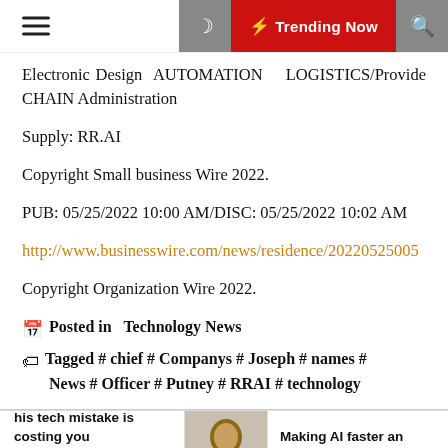Trending Now
Electronic Design AUTOMATION LOGISTICS/Provide CHAIN Administration
Supply: RR.AI
Copyright Small business Wire 2022.
PUB: 05/25/2022 10:00 AM/DISC: 05/25/2022 10:02 AM
http://www.businesswire.com/news/residence/20220525005
Copyright Organization Wire 2022.
Posted in  Technology News
Tagged # chief # Companys # Joseph # names # News # Officer # Putney # RRAI # technology
his tech mistake is costing you money every single month
Making AI faster and efficient – News Cer